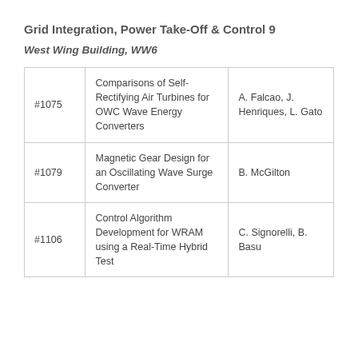Grid Integration, Power Take-Off & Control 9
West Wing Building, WW6
|  | Title | Authors |
| --- | --- | --- |
| #1075 | Comparisons of Self-Rectifying Air Turbines for OWC Wave Energy Converters | A. Falcao, J. Henriques, L. Gato |
| #1079 | Magnetic Gear Design for an Oscillating Wave Surge Converter | B. McGilton |
| #1106 | Control Algorithm Development for WRAM using a Real-Time Hybrid Test | C. Signorelli, B. Basu |